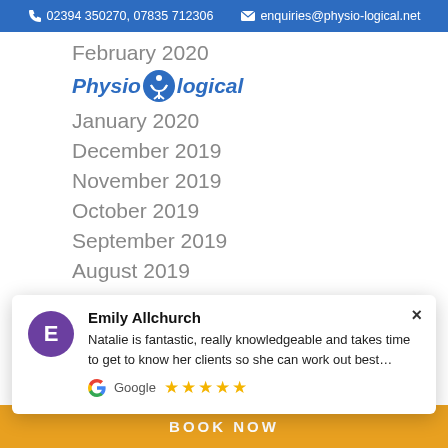📞 02394 350270, 07835 712306  ✉ enquiries@physio-logical.net
February 2020
[Figure (logo): Physio-logical logo with blue stylised figure icon and italic blue text]
January 2020
December 2019
November 2019
October 2019
September 2019
August 2019
Emily Allchurch — Natalie is fantastic, really knowledgeable and takes time to get to know her clients so she can work out best… Google ★★★★★
May 2019
April 2019
BOOK NOW